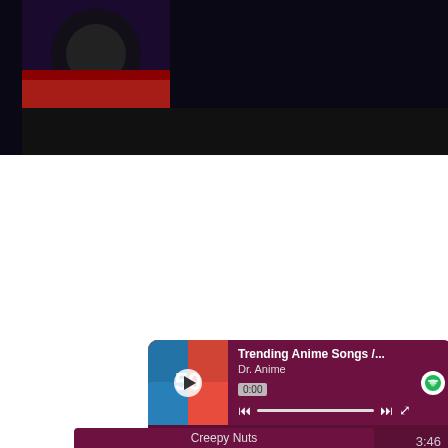[Figure (screenshot): Video player with dark background and anime thumbnail on the left showing dark swirling imagery with red flowers]
[Figure (screenshot): Spotify embedded player showing 'Trending Anime Songs /...' playlist by Dr. Anime with album art, playback controls, progress bar at 0:00, and track list: 1. ううう Ado 3:46, 2. ううう Sayuri 4:35]
[Figure (infographic): Advertisement banner for Tokyo Revengers game featuring anime characters, 'Get your favorite Tokyo Revengers Heroes!', 'PLAY NOW' button with App Store and Google Play badges]
Creepy Nuts